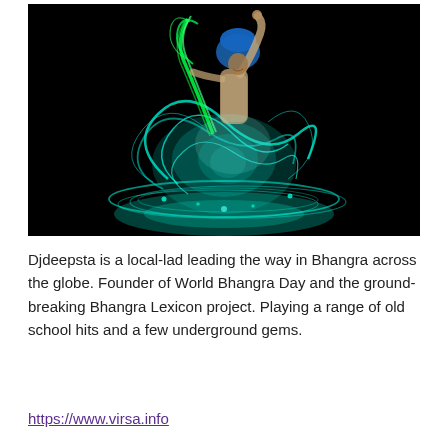[Figure (photo): A Bhangra dancer wearing a blue turban and colorful traditional costume performing with glowing green and cyan light trails around them against a black background, with teal light reflections on the floor.]
Djdeepsta is a local-lad leading the way in Bhangra across the globe. Founder of World Bhangra Day and the ground-breaking Bhangra Lexicon project. Playing a range of old school hits and a few underground gems.
https://www.virsa.info